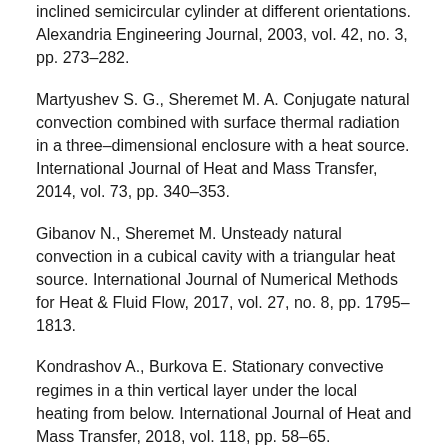inclined semicircular cylinder at different orientations. Alexandria Engineering Journal, 2003, vol. 42, no. 3, pp. 273–282.
Martyushev S. G., Sheremet M. A. Conjugate natural convection combined with surface thermal radiation in a three–dimensional enclosure with a heat source. International Journal of Heat and Mass Transfer, 2014, vol. 73, pp. 340–353.
Gibanov N., Sheremet M. Unsteady natural convection in a cubical cavity with a triangular heat source. International Journal of Numerical Methods for Heat & Fluid Flow, 2017, vol. 27, no. 8, pp. 1795–1813.
Kondrashov A., Burkova E. Stationary convective regimes in a thin vertical layer under the local heating from below. International Journal of Heat and Mass Transfer, 2018, vol. 118, pp. 58–65.